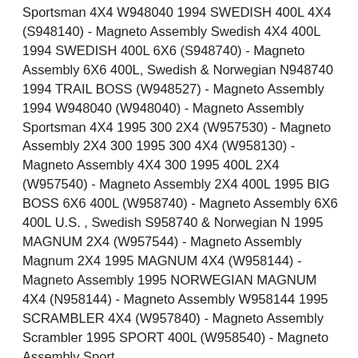Sportsman 4X4 W948040 1994 SWEDISH 400L 4X4 (S948140) - Magneto Assembly Swedish 4X4 400L 1994 SWEDISH 400L 6X6 (S948740) - Magneto Assembly 6X6 400L, Swedish & Norwegian N948740 1994 TRAIL BOSS (W948527) - Magneto Assembly 1994 W948040 (W948040) - Magneto Assembly Sportsman 4X4 1995 300 2X4 (W957530) - Magneto Assembly 2X4 300 1995 300 4X4 (W958130) - Magneto Assembly 4X4 300 1995 400L 2X4 (W957540) - Magneto Assembly 2X4 400L 1995 BIG BOSS 6X6 400L (W958740) - Magneto Assembly 6X6 400L U.S. , Swedish S958740 & Norwegian N 1995 MAGNUM 2X4 (W957544) - Magneto Assembly Magnum 2X4 1995 MAGNUM 4X4 (W958144) - Magneto Assembly 1995 NORWEGIAN MAGNUM 4X4 (N958144) - Magneto Assembly W958144 1995 SCRAMBLER 4X4 (W957840) - Magneto Assembly Scrambler 1995 SPORT 400L (W958540) - Magneto Assembly Sport